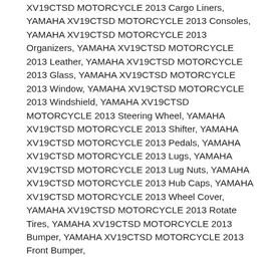XV19CTSD MOTORCYCLE 2013 Cargo Liners, YAMAHA XV19CTSD MOTORCYCLE 2013 Consoles, YAMAHA XV19CTSD MOTORCYCLE 2013 Organizers, YAMAHA XV19CTSD MOTORCYCLE 2013 Leather, YAMAHA XV19CTSD MOTORCYCLE 2013 Glass, YAMAHA XV19CTSD MOTORCYCLE 2013 Window, YAMAHA XV19CTSD MOTORCYCLE 2013 Windshield, YAMAHA XV19CTSD MOTORCYCLE 2013 Steering Wheel, YAMAHA XV19CTSD MOTORCYCLE 2013 Shifter, YAMAHA XV19CTSD MOTORCYCLE 2013 Pedals, YAMAHA XV19CTSD MOTORCYCLE 2013 Lugs, YAMAHA XV19CTSD MOTORCYCLE 2013 Lug Nuts, YAMAHA XV19CTSD MOTORCYCLE 2013 Hub Caps, YAMAHA XV19CTSD MOTORCYCLE 2013 Wheel Cover, YAMAHA XV19CTSD MOTORCYCLE 2013 Rotate Tires, YAMAHA XV19CTSD MOTORCYCLE 2013 Bumper, YAMAHA XV19CTSD MOTORCYCLE 2013 Front Bumper,